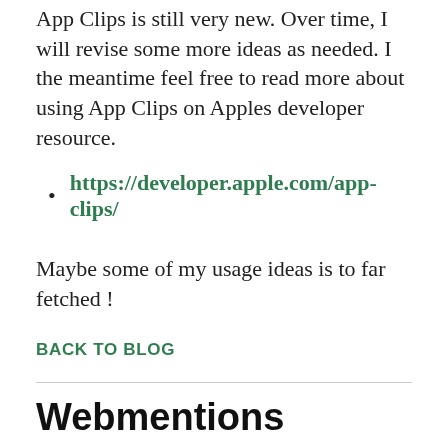App Clips is still very new. Over time, I will revise some more ideas as needed. I the meantime feel free to read more about using App Clips on Apples developer resource.
https://developer.apple.com/app-clips/
Maybe some of my usage ideas is to far fetched !
BACK TO BLOG
Webmentions
Want to respond? Reply, like, reply or bookmark on Twitter :)